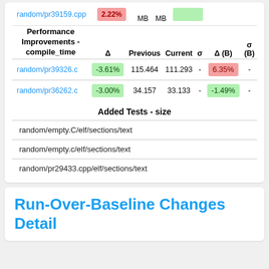| Performance Improvements - compile_time | Δ | Previous | Current | σ | Δ (B) | σ (B) |
| --- | --- | --- | --- | --- | --- | --- |
| random/pr39326.c | -3.61% | 115.464 | 111.293 | - | 6.35% | - |
| random/pr36262.c | -3.00% | 34.157 | 33.133 | - | -1.49% | - |
Added Tests - size
| random/empty.C/elf/sections/text |
| random/empty.c/elf/sections/text |
| random/pr29433.cpp/elf/sections/text |
Run-Over-Baseline Changes Detail